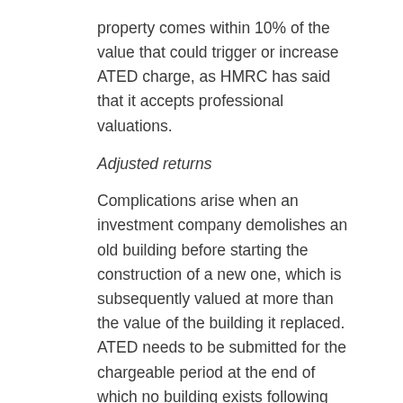property comes within 10% of the value that could trigger or increase ATED charge, as HMRC has said that it accepts professional valuations.
Adjusted returns
Complications arise when an investment company demolishes an old building before starting the construction of a new one, which is subsequently valued at more than the value of the building it replaced. ATED needs to be submitted for the chargeable period at the end of which no building exists following demolition, and subsequently an additional return needs to be submitted for the uplift in value between the old and the new building, in addition to any ATED return for the most